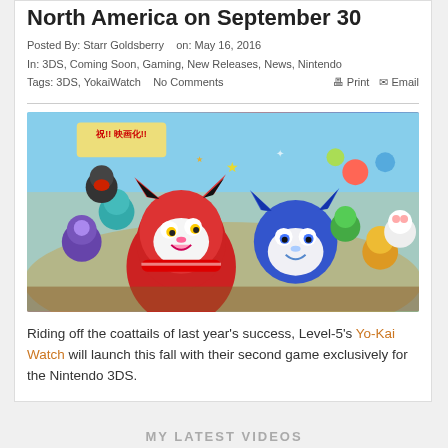North America on September 30
Posted By: Starr Goldsberry   on: May 16, 2016
In: 3DS, Coming Soon, Gaming, New Releases, News, Nintendo
Tags: 3DS, YokaiWatch   No Comments   🖨 Print   ✉ Email
[Figure (illustration): Colorful anime-style artwork featuring Yo-Kai Watch characters including Jibanyan (red cat), Komasan (blue cat), and many other yokai creatures in a crowded, festive scene with Japanese text banners.]
Riding off the coattails of last year's success, Level-5's Yo-Kai Watch will launch this fall with their second game exclusively for the Nintendo 3DS.
MY LATEST VIDEOS